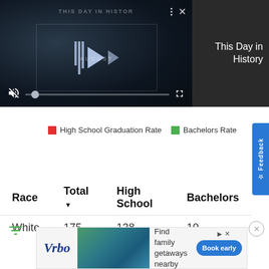[Figure (screenshot): Video player showing 'This Day in History' with play controls, mute button, progress bar, and fullscreen icon on dark background]
This Day in History
[Figure (infographic): Legend showing High School Graduation Rate (red square) and Bachelors Rate (green square)]
| Race | Total ▼ | High School | Bachelors |
| --- | --- | --- | --- |
| White | 175 | 138 | 10 |
[Figure (other): Vrbo advertisement banner with 'Find family getaways nearby' and 'Book early' button]